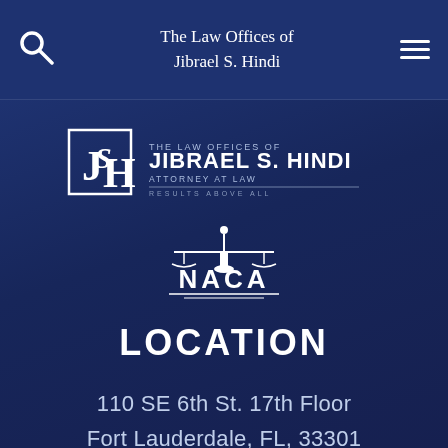The Law Offices of Jibrael S. Hindi
[Figure (logo): JSH Law Offices logo with stylized J S H letters and text: THE LAW OFFICES OF JIBRAEL S. HINDI ATTORNEY AT LAW RESULTS ABOVE ALL]
[Figure (logo): NACA logo with scales of justice emblem]
LOCATION
110 SE 6th St. 17th Floor
Fort Lauderdale, FL, 33301